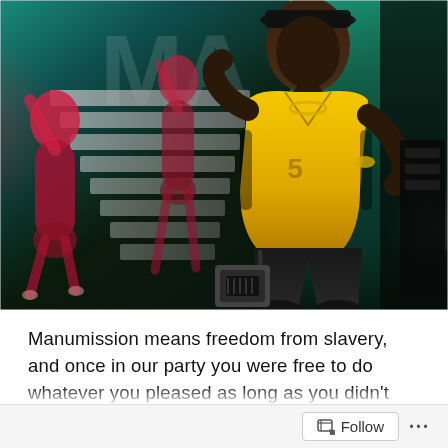[Figure (photo): Concert/performance photo showing a man in a yellow jersey shirt and dark pants on stage, with female dancers in colorful outfits on stairs behind him. Colorful stage lighting with green and red hues in background.]
Manumission means freedom from slavery, and once in our party you were free to do whatever you pleased as long as you didn't harm anyone else. One midsummers night completely unannounced P.Diddy stepped onto the Manumission stage as part of the nights